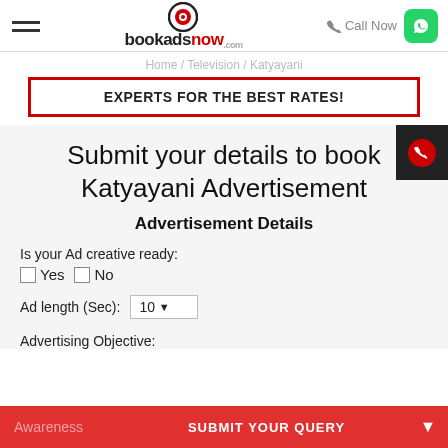bookadsnow.com — Call Now
Home / Television / Katyayani
EXPERTS FOR THE BEST RATES!
Submit your details to book Katyayani Advertisement
Advertisement Details
Is your Ad creative ready:
Yes   No
Ad length (Sec): 10
Advertising Objective:
Awareness — SUBMIT YOUR QUERY